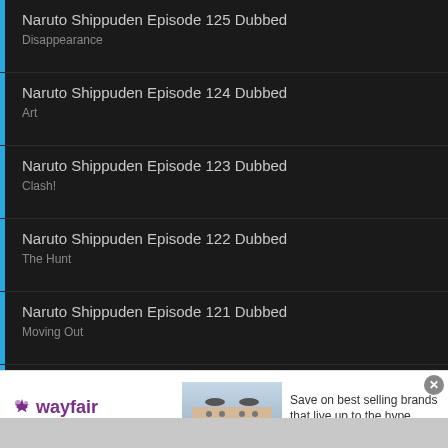Naruto Shippuden Episode 125 Dubbed
Disappearance
Naruto Shippuden Episode 124 Dubbed
Art
Naruto Shippuden Episode 123 Dubbed
Clash!
Naruto Shippuden Episode 122 Dubbed
The Hunt
Naruto Shippuden Episode 121 Dubbed
Moving Out
Naruto Shippuden Episode 120 Dubbed
Kakashi`s Gaiden - The Battlefield of a Boy`s Life!-Part II
[Figure (screenshot): Wayfair advertisement banner: Top Appliances Low Prices with stove image and Shop now button]